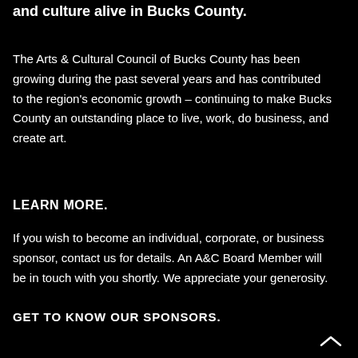and culture alive in Bucks County.
The Arts & Cultural Council of Bucks County has been growing during the past several years and has contributed to the region's economic growth – continuing to make Bucks County an outstanding place to live, work, do business, and create art.
LEARN MORE.
If you wish to become an individual, corporate, or business sponsor, contact us for details. An A&C Board Member will be in touch with you shortly. We appreciate your generosity.
GET TO KNOW OUR SPONSORS.